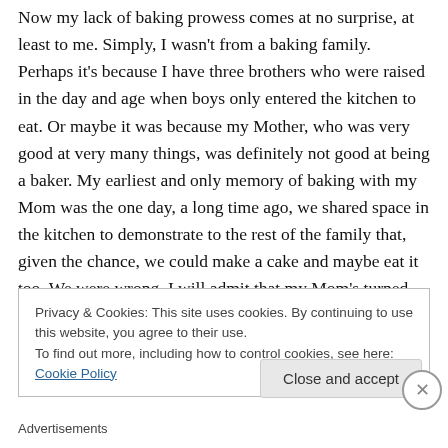Now my lack of baking prowess comes at no surprise, at least to me. Simply, I wasn't from a baking family. Perhaps it's because I have three brothers who were raised in the day and age when boys only entered the kitchen to eat. Or maybe it was because my Mother, who was very good at very many things, was definitely not good at being a baker. My earliest and only memory of baking with my Mom was the one day, a long time ago, we shared space in the kitchen to demonstrate to the rest of the family that, given the chance, we could make a cake and maybe eat it too. We were wrong. I will admit that my Mom's turned out
Privacy & Cookies: This site uses cookies. By continuing to use this website, you agree to their use.
To find out more, including how to control cookies, see here: Cookie Policy
Close and accept
Advertisements